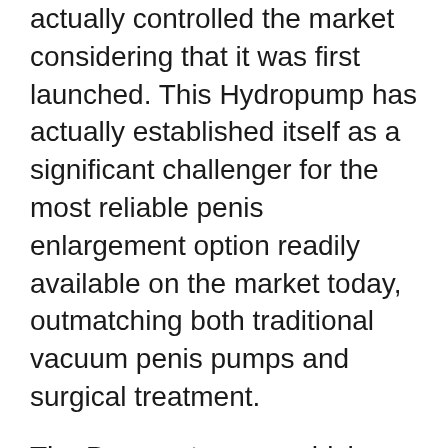actually controlled the market considering that it was first launched. This Hydropump has actually established itself as a significant challenger for the most reliable penis enlargement option readily available on the market today, outmatching both traditional vacuum penis pumps and surgical treatment.
The Penomet pump, which was made by specialists and also has actually been utilized by a great deal of individuals, is distinct, comfy, and also risk-free.
The pump's success can be attributed to its special design as well as interchangeable gaiters, which allow customers to control the stress that is put on the penis and also obtain the results they prefer.